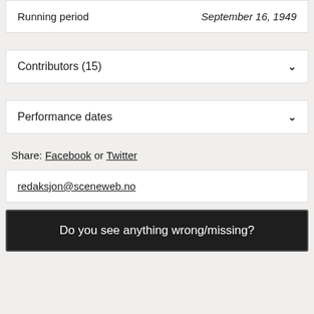| Running period | September 16, 1949 |
Contributors (15)
Performance dates
Share: Facebook or Twitter
redaksjon@sceneweb.no
Do you see anything wrong/missing?